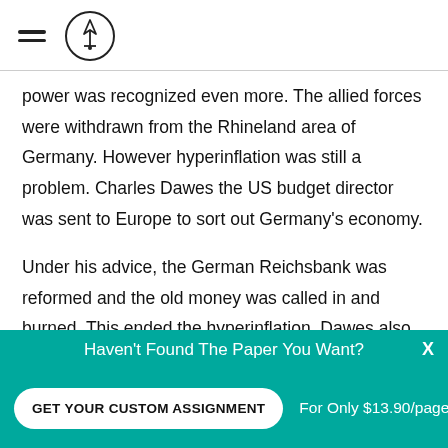power was recognized even more. The allied forces were withdrawn from the Rhineland area of Germany. However hyperinflation was still a problem. Charles Dawes the US budget director was sent to Europe to sort out Germany's economy.
Under his advice, the German Reichsbank was reformed and the old money was called in and burned. This ended the hyperinflation. Dawes also arranged the Dawes Plan with Stresemann, which gave Germany longer to pay
Haven't Found The Paper You Want? X GET YOUR CUSTOM ASSIGNMENT For Only $13.90/page